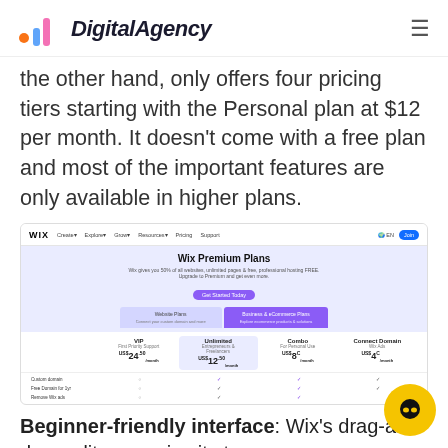DigitalAgency
the other hand, only offers four pricing tiers starting with the Personal plan at $12 per month. It doesn't come with a free plan and most of the important features are only available in higher plans.
[Figure (screenshot): Screenshot of Wix Premium Plans page showing navigation bar, hero section with 'Wix Premium Plans' heading, Website Plans and Business & eCommerce Plans tabs, and pricing columns showing VIP ($24/month), Unlimited ($12/month), Combo ($8/month), and Connect Domain ($4/month) plans with feature check rows]
Beginner-friendly interface: Wix's drag-and-drop editor remains its top